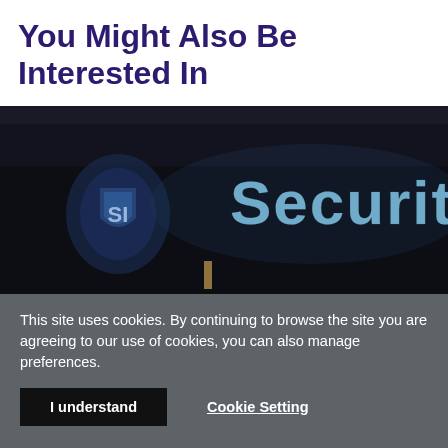You Might Also Be Interested In
[Figure (photo): Dark background screen displaying the word 'Security' in light blue dotted text with a shield icon on the left side]
This site uses cookies. By continuing to browse the site you are agreeing to our use of cookies, you can also manage preferences.
I understand
Cookie Setting
Find More